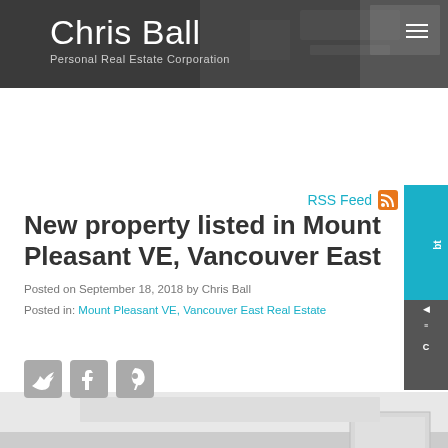Chris Ball
Personal Real Estate Corporation
RSS Feed
New property listed in Mount Pleasant VE, Vancouver East
Posted on September 18, 2018 by Chris Ball
Posted in: Mount Pleasant VE, Vancouver East Real Estate
[Figure (photo): Social media share icons: Twitter, Facebook, Pinterest]
[Figure (photo): Interior room photo with NEW LISTING diagonal ribbon badge in green]